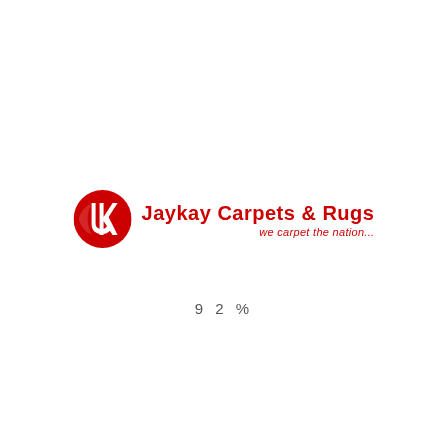[Figure (logo): Jaykay Carpets & Rugs logo — red circular JK emblem on the left, company name 'Jaykay Carpets & Rugs' in red bold text on the right, with tagline 'we carpet the nation...' below in red italic]
92%